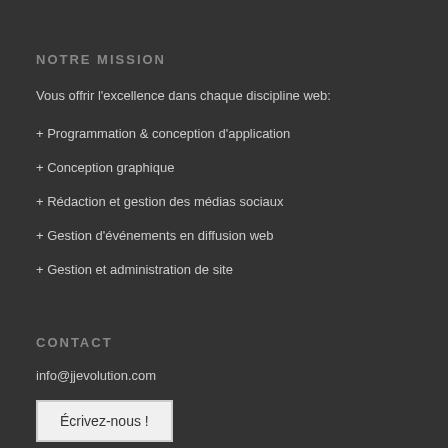NOTRE MISSION
Vous offrir l’excellence dans chaque discipline web:
+ Programmation & conception d’application
+ Conception graphique
+ Rédaction et gestion des médias sociaux
+ Gestion d’événements en diffusion web
+ Gestion et administration de site
CONTACT
info@jjevolution.com
Écrivez-nous !